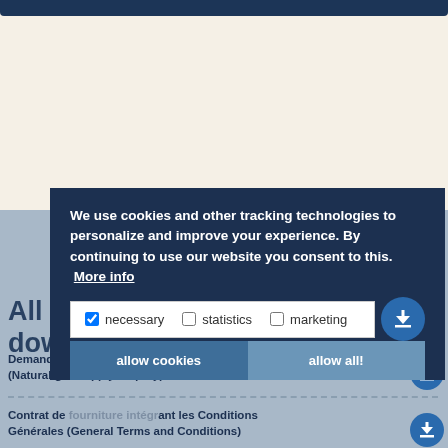[Figure (screenshot): Top dark blue navigation bar from a website]
All the documents you can download
We use cookies and other tracking technologies to personalize and improve your experience. By continuing to use our website you consent to this. More info
necessary   statistics   marketing
allow cookies   allow all!
Demande de fourniture de gaz naturel (Natural gas supply enquiry)
Contrat de fourniture intégrant les Conditions Générales (General Terms and Conditions)